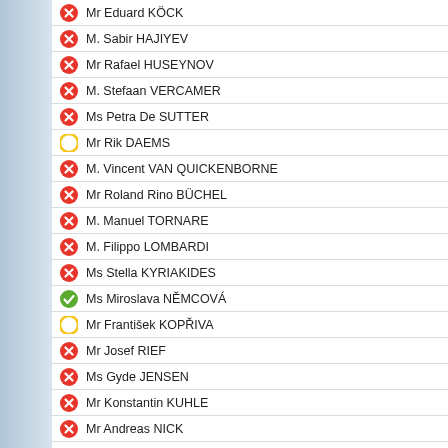Mr Eduard KÖCK
M. Sabir HAJIYEV
Mr Rafael HUSEYNOV
M. Stefaan VERCAMER
Ms Petra De SUTTER
Mr Rik DAEMS
M. Vincent VAN QUICKENBORNE
Mr Roland Rino BÜCHEL
M. Manuel TORNARE
M. Filippo LOMBARDI
Ms Stella KYRIAKIDES
Ms Miroslava NĚMCOVÁ
Mr František KOPŘIVA
Mr Josef RIEF
Ms Gyde JENSEN
Mr Konstantin KUHLE
Mr Andreas NICK